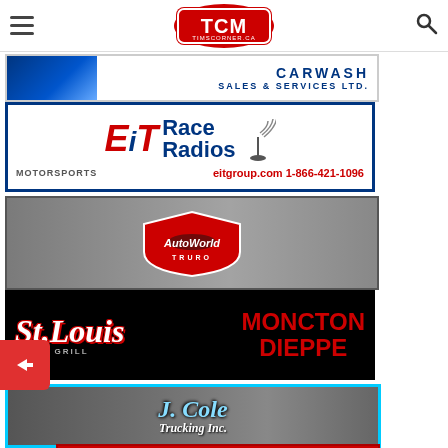TCM - timscorner.ca navigation header
[Figure (logo): TCM Timscorner.ca logo in red/white shield with TCM letters]
[Figure (logo): Carwash Sales & Services Ltd. advertisement banner]
[Figure (logo): EiT Race Radios Motorsports advertisement - eitgroup.com 1-866-421-1096]
[Figure (logo): AutoWorld Truro advertisement banner with race car background]
[Figure (logo): St. Louis Bar & Grill Moncton Dieppe advertisement on black background]
[Figure (logo): J. Cole Trucking Inc. advertisement with cyan border and race car background]
[Figure (photo): Partial bottom advertisement with red background and race imagery]